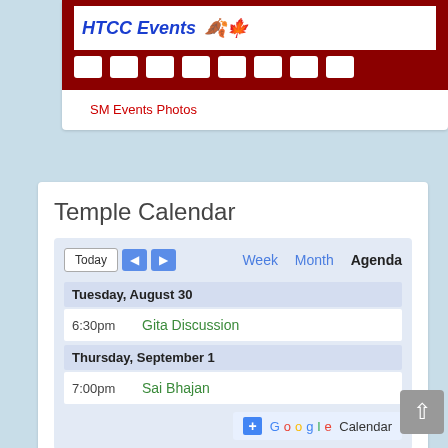[Figure (screenshot): HTCC Events film strip banner with white squares representing photo thumbnails on a dark red background]
SM Events Photos
Temple Calendar
[Figure (screenshot): Google Calendar agenda widget showing Today/nav buttons, Week/Month/Agenda view options, events for Tuesday August 30 (6:30pm Gita Discussion) and Thursday September 1 (7:00pm Sai Bhajan), with +Google Calendar button]